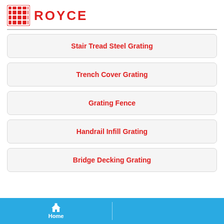[Figure (logo): Royce company logo with red grid icon and ROYCE text in grey and red]
Stair Tread Steel Grating
Trench Cover Grating
Grating Fence
Handrail Infill Grating
Bridge Decking Grating
Home